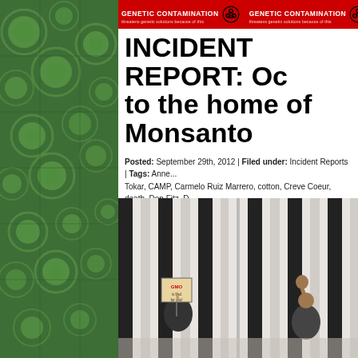[Figure (photo): Aerial satellite view of green circular and patchwork agricultural fields, used as left sidebar background]
[Figure (infographic): Red banner repeating 'GENETIC CONTAMINATION' with biohazard icons and subtitle text]
INCIDENT REPORT: Oc... to the home of Monsanto...
Posted: September 29th, 2012 | Filed under: Incident Reports | Tags: Anne... Tokar, CAMP, Carmelo Ruiz Marrero, cotton, Creve Coeur, death, Don Fitz, D... Gateway Green Alliance, Global Justice Ecology Project, GM soy, gmo, GMO... of Genetically Modified Organisms, Millennium Hotel, MO, Occupy Monsanto... Rats, Safe Food Action St. Louis, St. Louis, Stan Cox, STL, Suzanne Renard...
[Figure (photo): Protesters outside a building with white vertical columns/bars. On the left a person holds a sign reading 'GMO' and something below, on the right a person raises a fist.]